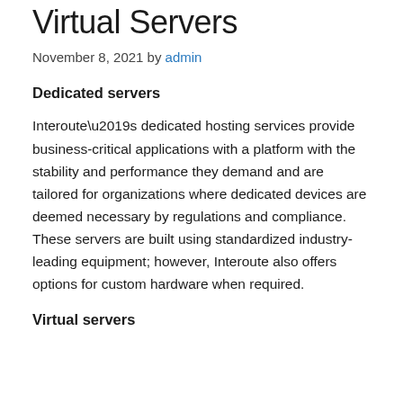Virtual Servers
November 8, 2021 by admin
Dedicated servers
Interoute’s dedicated hosting services provide business-critical applications with a platform with the stability and performance they demand and are tailored for organizations where dedicated devices are deemed necessary by regulations and compliance. These servers are built using standardized industry-leading equipment; however, Interoute also offers options for custom hardware when required.
Virtual servers